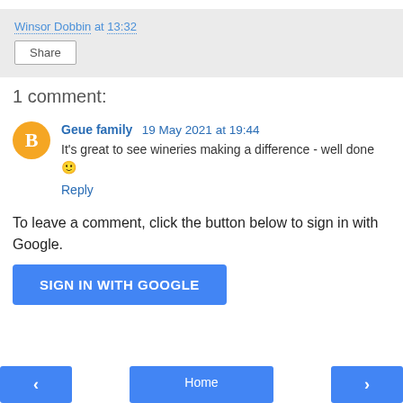Winsor Dobbin at 13:32
Share
1 comment:
Geue family 19 May 2021 at 19:44
It's great to see wineries making a difference - well done 🙂
Reply
To leave a comment, click the button below to sign in with Google.
SIGN IN WITH GOOGLE